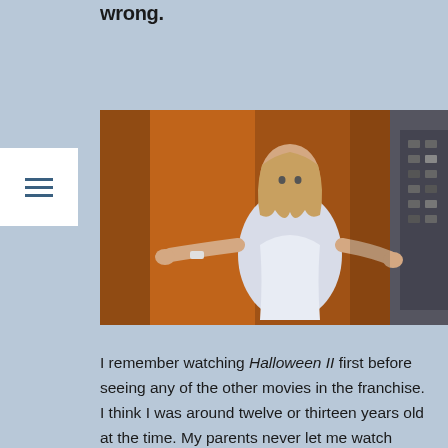wrong.
[Figure (photo): A woman in a white hospital gown standing in an elevator with orange/brown walls, arms outstretched, looking frightened — a scene from Halloween II]
I remember watching Halloween II first before seeing any of the other movies in the franchise. I think I was around twelve or thirteen years old at the time. My parents never let me watch rated-R movies, let alone horror movies, at that age. I was spending the weekend at my friends Brad and Brett's house, and they were allowed to watch those types of movies. Needless to say, I took full advantage of the situation. Isn't that what you're supposed to do at a slumber party? We went to a haunted mansion earlier in the evening and then